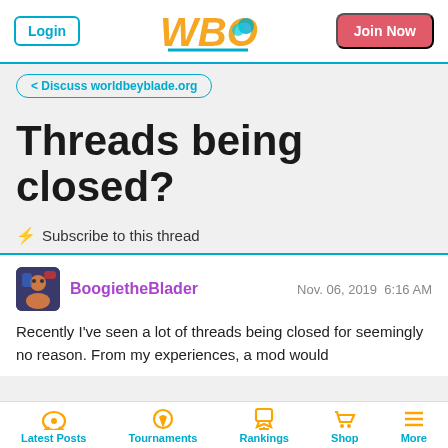Login | WBO | Join Now
< Discuss worldbeyblade.org
Threads being closed?
⚡ Subscribe to this thread
BoogietheBlader   Nov. 06, 2019  6:16 AM
Recently I've seen a lot of threads being closed for seemingly no reason. From my experiences, a mod would
Latest Posts  Tournaments  Rankings  Shop  More